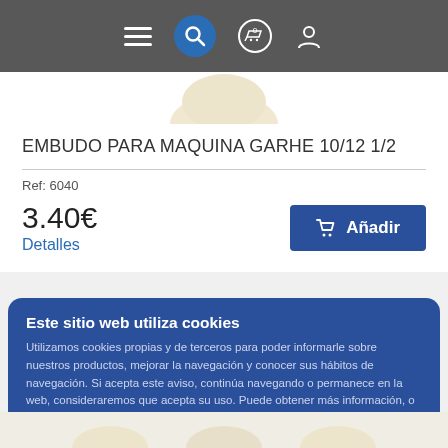Navigation bar with hamburger menu, search, cart (0), and user icons
[Figure (screenshot): Partial product image — top of a cream/beige funnel product visible at top of card]
EMBUDO PARA MAQUINA GARHE 10/12 1/2
Ref: 6040
3.40€
Detalles
Añadir
Este sitio web utiliza cookies
Utilizamos cookies propias y de terceros para poder informarle sobre nuestros productos, mejorar la navegación y conocer sus hábitos de navegación. Si acepta este aviso, continúa navegando o permanece en la web, consideraremos que acepta su uso. Puede obtener más información, o bien conocer cómo cambiar la configuración. Mas informacion
Guardar
Cambiar ajustes
[Figure (photo): Bottom strip showing tops of cream/beige funnel products]